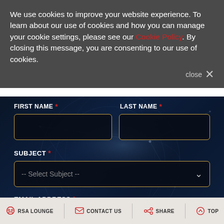We use cookies to improve your website experience. To learn about our use of cookies and how you can manage your cookie settings, please see our Cookie Policy. By closing this message, you are consenting to our use of cookies.
close ✕
FIRST NAME *
LAST NAME *
SUBJECT *
-- Select Subject --
EMAIL ADDRESS *
RSA LOUNGE  CONTACT US  SHARE  TOP